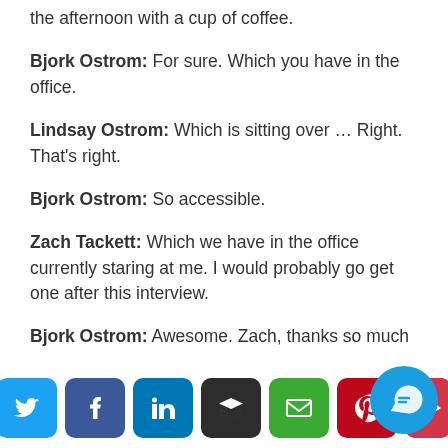the afternoon with a cup of coffee.
Bjork Ostrom: For sure. Which you have in the office.
Lindsay Ostrom: Which is sitting over … Right. That's right.
Bjork Ostrom: So accessible.
Zach Tackett: Which we have in the office currently staring at me. I would probably go get one after this interview.
Bjork Ostrom: Awesome. Zach, thanks so much
[Figure (infographic): Social media share buttons: Twitter, Facebook, LinkedIn, Buffer, Email, Pinterest, and a partial red button, plus a floating chat button]